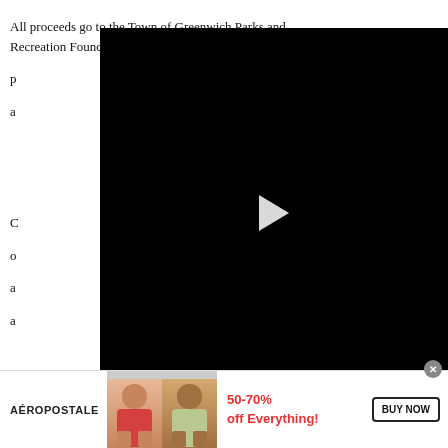All proceeds go to the Town of Greenwich Parks and Recreation Foundation Scholarship Fund, which p... a...
[Figure (screenshot): Black video player overlay with white play button triangle in center]
C... o... a... a...
w...
[Figure (advertisement): New Mole Remover Stunned Investors advertisement link]
[Figure (advertisement): Aeropostale banner ad: 50-70% off Everything! BUY NOW]